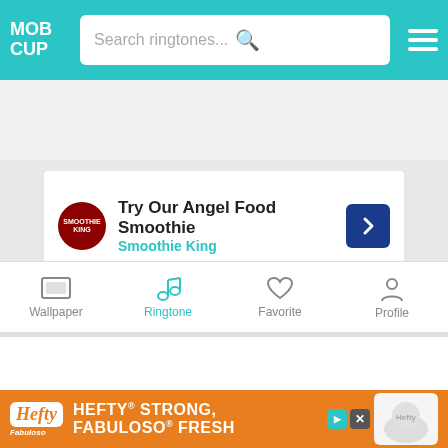[Figure (screenshot): MobCup app header with logo, search bar, and hamburger menu on teal background]
[Figure (screenshot): Advertisement for Smoothie King - Try Our Angel Food Smoothie]
[Figure (screenshot): Action bar with heart icon, share icon, and Download button]
[Figure (screenshot): Full moon ringtone listing with play button, 258 Downloads, and full moon tag]
[Figure (screenshot): Bottom navigation bar with Wallpaper, Ringtone (active), Favorite, Profile tabs]
[Figure (screenshot): Bottom advertisement banner for Hefty - Hefty Strong, Fabuloso Fresh]